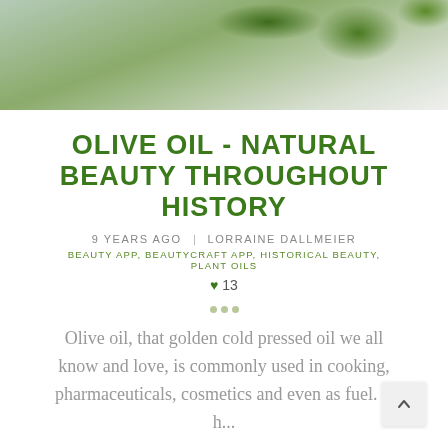[Figure (photo): Olive branch with green olives against a light background, cropped to show leaves and fruit]
OLIVE OIL - NATURAL BEAUTY THROUGHOUT HISTORY
9 YEARS AGO   LORRAINE DALLMEIER
BEAUTY APP, BEAUTYCRAFT APP, HISTORICAL BEAUTY, PLANT OILS
♥ 13
Olive oil, that golden cold pressed oil we all know and love, is commonly used in cooking, pharmaceuticals, cosmetics and even as fuel. It h...